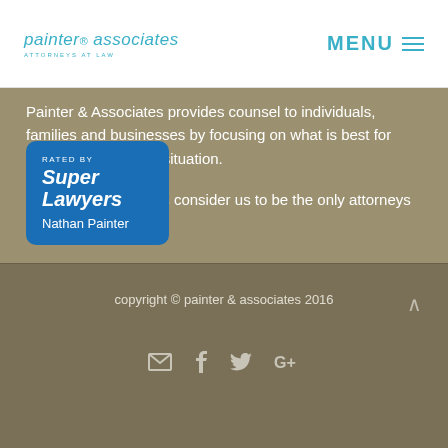painter & associates — MENU
Painter & Associates provides counsel to individuals, families and businesses by focusing on what is best for every client in every situation.
That's why our clients consider us to be the only attorneys they will ever need.
[Figure (logo): Rated by Super Lawyers badge with Nathan Painter name]
copyright © painter & associates 2016